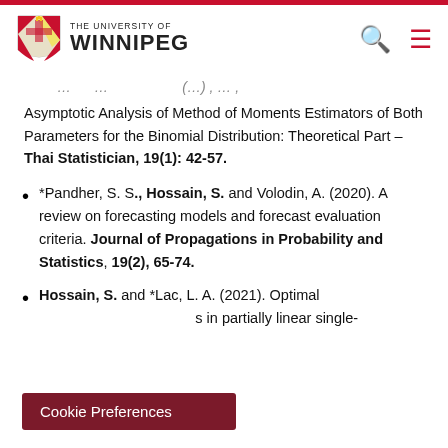THE UNIVERSITY OF WINNIPEG
Asymptotic Analysis of Method of Moments Estimators of Both Parameters for the Binomial Distribution: Theoretical Part – Thai Statistician, 19(1): 42-57.
*Pandher, S. S., Hossain, S. and Volodin, A. (2020). A review on forecasting models and forecast evaluation criteria. Journal of Propagations in Probability and Statistics, 19(2), 65-74.
Hossain, S. and *Lac, L. A. (2021). Optimal s...s in partially linear single-